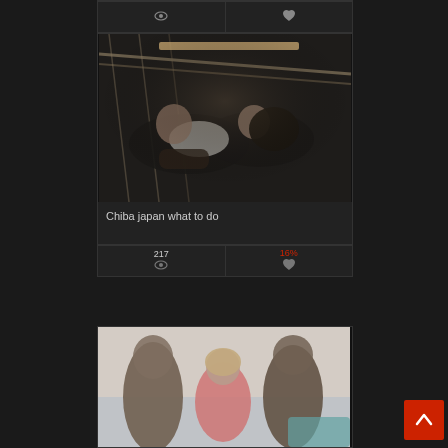[Figure (screenshot): Partial top card showing eye icon and heart icon stats row]
[Figure (photo): Two people lying together in a hammock, dark romantic photo]
Chiba japan what to do
217
16%
[Figure (photo): Three people in an intimate scene on a couch, adult content]